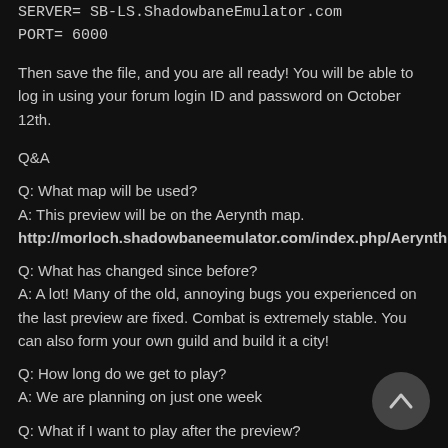SERVER= SB-LS.ShadowbaneEmulator.com
PORT= 6000
Then save the file, and you are all ready! You will be able to log in using your forum login ID and password on October 12th.
Q&A
Q: What map will be used?
A: This preview will be on the Aerynth map.
http://morloch.shadowbaneemulator.com/index.php/Aerynth
Q: What has changed since before?
A: A lot! Many of the old, annoying bugs you experienced on the last preview are fixed. Combat is extremely stable. You can also form your own guild and build it a city!
Q: How long do we get to play?
A: We are planning on just one week
Q: What if I want to play after the preview?
A: Apply to become a closed beta tester here (login and then click